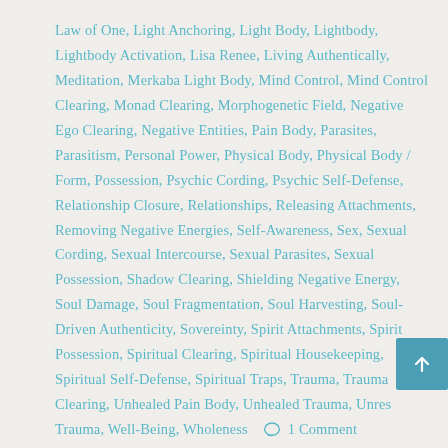Law of One, Light Anchoring, Light Body, Lightbody, Lightbody Activation, Lisa Renee, Living Authentically, Meditation, Merkaba Light Body, Mind Control, Mind Control Clearing, Monad Clearing, Morphogenetic Field, Negative Ego Clearing, Negative Entities, Pain Body, Parasites, Parasitism, Personal Power, Physical Body, Physical Body / Form, Possession, Psychic Cording, Psychic Self-Defense, Relationship Closure, Relationships, Releasing Attachments, Removing Negative Energies, Self-Awareness, Sex, Sexual Cording, Sexual Intercourse, Sexual Parasites, Sexual Possession, Shadow Clearing, Shielding Negative Energy, Soul Damage, Soul Fragmentation, Soul Harvesting, Soul-Driven Authenticity, Sovereinty, Spirit Attachments, Spirit Possession, Spiritual Clearing, Spiritual Housekeeping, Spiritual Self-Defense, Spiritual Traps, Trauma, Trauma Clearing, Unhealed Pain Body, Unhealed Trauma, Unresolved Trauma, Well-Being, Wholeness
1 Comment